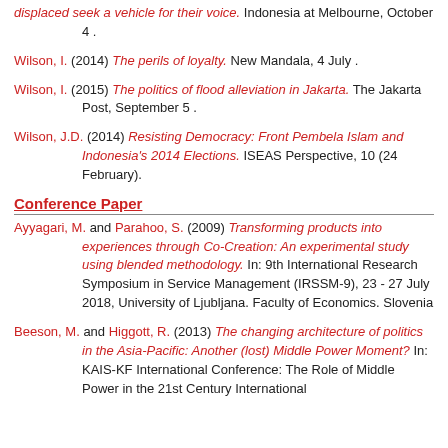displaced seek a vehicle for their voice. Indonesia at Melbourne, October 4 .
Wilson, I. (2014) The perils of loyalty. New Mandala, 4 July .
Wilson, I. (2015) The politics of flood alleviation in Jakarta. The Jakarta Post, September 5 .
Wilson, J.D. (2014) Resisting Democracy: Front Pembela Islam and Indonesia's 2014 Elections. ISEAS Perspective, 10 (24 February).
Conference Paper
Ayyagari, M. and Parahoo, S. (2009) Transforming products into experiences through Co-Creation: An experimental study using blended methodology. In: 9th International Research Symposium in Service Management (IRSSM-9), 23 - 27 July 2018, University of Ljubljana. Faculty of Economics. Slovenia
Beeson, M. and Higgott, R. (2013) The changing architecture of politics in the Asia-Pacific: Another (lost) Middle Power Moment? In: KAIS-KF International Conference: The Role of Middle Power in the 21st Century International